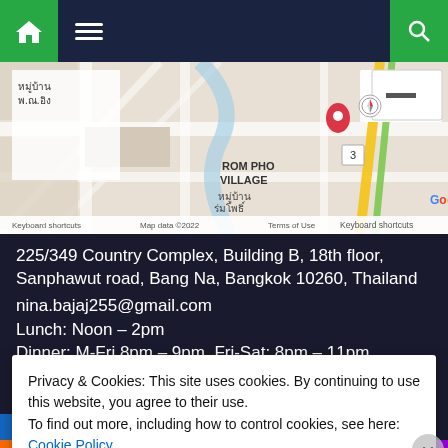[Figure (screenshot): Website screenshot showing navigation bar with home icon, hamburger menu, and search icon]
[Figure (map): Google Maps screenshot showing ROM PHO VILLAGE area near Wat Bang Na Nai in Bangkok]
225/349 Country Complex, Building B, 18th floor, Sanphawut road, Bang Na, Bangkok 10260, Thailand
nina.bajaj255@gmail.com
Lunch: Noon - 2pm
Dinner: M-Fri 8pm - 9pm, Fri-Sat: 8pm - 11pm
Privacy & Cookies: This site uses cookies. By continuing to use this website, you agree to their use.
To find out more, including how to control cookies, see here:
Cookie Policy
Close and accept